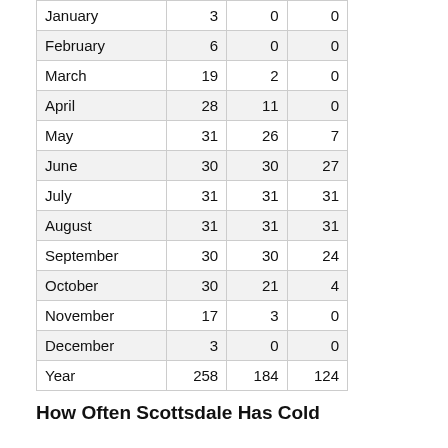| January | 3 | 0 | 0 |
| February | 6 | 0 | 0 |
| March | 19 | 2 | 0 |
| April | 28 | 11 | 0 |
| May | 31 | 26 | 7 |
| June | 30 | 30 | 27 |
| July | 31 | 31 | 31 |
| August | 31 | 31 | 31 |
| September | 30 | 30 | 24 |
| October | 30 | 21 | 4 |
| November | 17 | 3 | 0 |
| December | 3 | 0 | 0 |
| Year | 258 | 184 | 124 |
How Often Scottsdale Has Cold